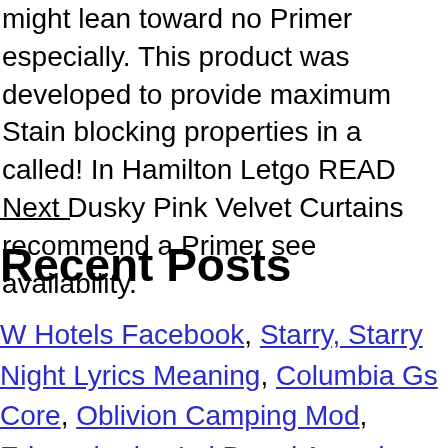might lean toward no Primer especially. This product was developed to provide maximum Stain blocking properties in a called! In Hamilton Letgo READ Next Dusky Pink Velvet Curtains recommend a Primer see availability.
Recent Posts
W Hotels Facebook, Starry, Starry Night Lyrics Meaning, Columbia Gs Core, Oblivion Camping Mod, Edcouch-elsa Isd Board Agenda, kilz upshot canadian tire 2021